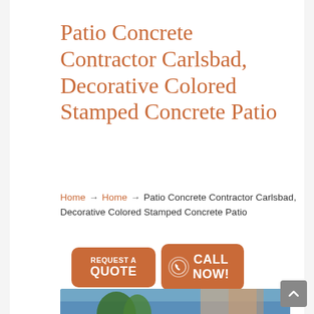Patio Concrete Contractor Carlsbad, Decorative Colored Stamped Concrete Patio
Home → Home → Patio Concrete Contractor Carlsbad, Decorative Colored Stamped Concrete Patio
[Figure (infographic): Two orange call-to-action buttons: 'REQUEST A QUOTE' and 'CALL NOW!' with phone icon]
[Figure (photo): Partial photo of a patio area with palm trees and blue sky visible at the bottom of the page]